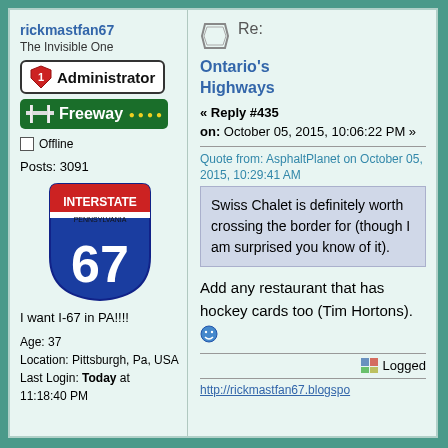rickmastfan67
The Invisible One
[Figure (illustration): Administrator badge with shield logo]
[Figure (illustration): Freeway rank badge, green with highway icon and gold dots]
Offline
Posts: 3091
[Figure (illustration): Interstate Pennsylvania 67 shield logo]
I want I-67 in PA!!!!
Age: 37
Location: Pittsburgh, Pa, USA
Last Login: Today at 11:18:40 PM
Re:
Ontario's Highways
« Reply #435 on: October 05, 2015, 10:06:22 PM »
Quote from: AsphaltPlanet on October 05, 2015, 10:29:41 AM
Swiss Chalet is definitely worth crossing the border for (though I am surprised you know of it).
Add any restaurant that has hockey cards too (Tim Hortons).
Logged
http://rickmastfan67.blogspo